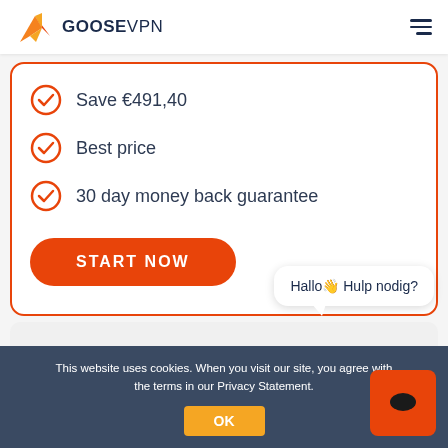GOOSEVPN
Save €491,40
Best price
30 day money back guarantee
START NOW
Hallo👋 Hulp nodig?
This website uses cookies. When you visit our site, you agree with the terms in our Privacy Statement.
OK